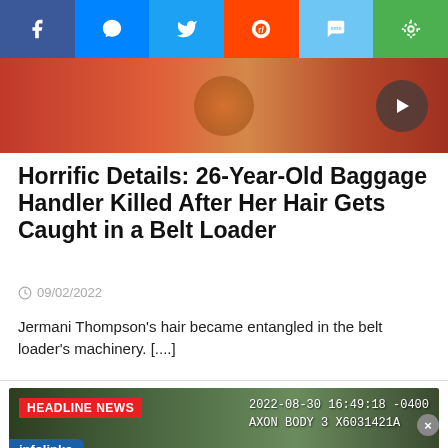[Figure (screenshot): Social media share buttons bar: Facebook, Messenger, Twitter, Reddit, SMS, copy link]
[Figure (photo): Hero image showing a person with a basketball near a red wall, with a play button overlay]
Horrific Details: 26-Year-Old Baggage Handler Killed After Her Hair Gets Caught in a Belt Loader
09/02/2022
Jermani Thompson's hair became entangled in the belt loader's machinery. [....]
[Figure (screenshot): Headline News video thumbnail with timestamp 2022-08-30 16:49:18 -0400, AXON BODY 3 X6031421A, with infolinks bar at bottom]
[Figure (screenshot): Advertisement: Goodyear Tire Promotion - Virginia Tire & Auto of Ashburn, with logo and blue arrow button]